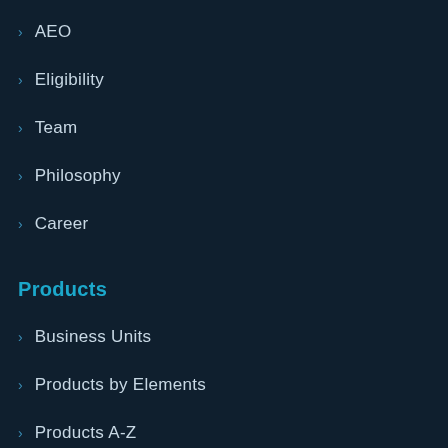AEO
Eligibility
Team
Philosophy
Career
Products
Business Units
Products by Elements
Products A-Z
Services